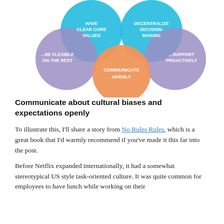[Figure (infographic): Venn-style overlapping circles diagram with 5 circles: top-left blue circle 'HAVE CLEAR CORE VALUES', top-right blue circle 'DECENTRALIZE DECISION-MAKING', left purple circle '...BE FLEXIBLE ON THE REST', right purple circle '...SUPPORT PROACTIVELY', center-bottom orange circle 'COMMUNICATE OPENLY']
Communicate about cultural biases and expectations openly
To illustrate this, I'll share a story from No Rules Rules, which is a great book that I'd warmly recommend if you've made it this far into the post.
Before Netflix expanded internationally, it had a somewhat stereotypical US style task-oriented culture. It was quite common for employees to have lunch while working on their